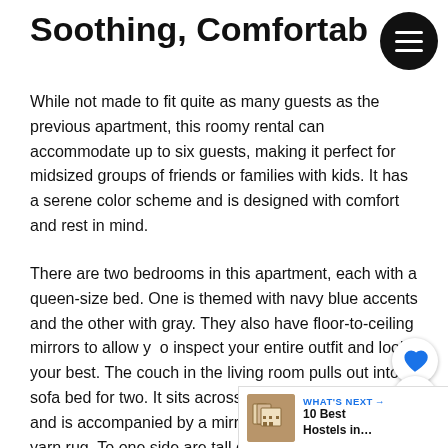Soothing, Comfortable Retre…
While not made to fit quite as many guests as the previous apartment, this roomy rental can accommodate up to six guests, making it perfect for midsized groups of friends or families with kids. It has a serene color scheme and is designed with comfort and rest in mind.
There are two bedrooms in this apartment, each with a queen-size bed. One is themed with navy blue accents and the other with gray. They also have floor-to-ceiling mirrors to allow you to inspect your entire outfit and look your best. The couch in the living room pulls out into a sofa bed for two. It sits across from a wall-mounted TV and is accompanied by a mirrored table set and a soft yarn rug. To one side are tall glass doors and lead to a balcony.